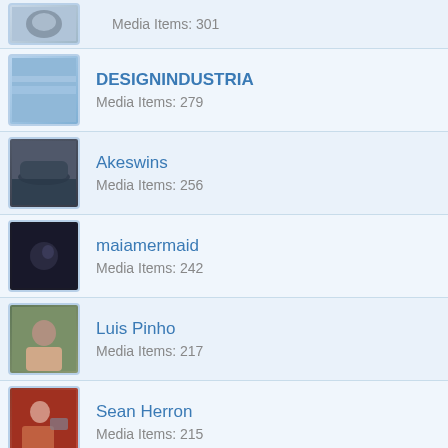Media Items: 301
DESIGNINDUSTRIA
Media Items: 279
Akeswins
Media Items: 256
maiamermaid
Media Items: 242
Luis Pinho
Media Items: 217
Sean Herron
Media Items: 215
grady
Media Items: 201
promocean
Media Items: 186
Tanton Yachts
Media Items: 177
Doug Lord
Media Items: 174